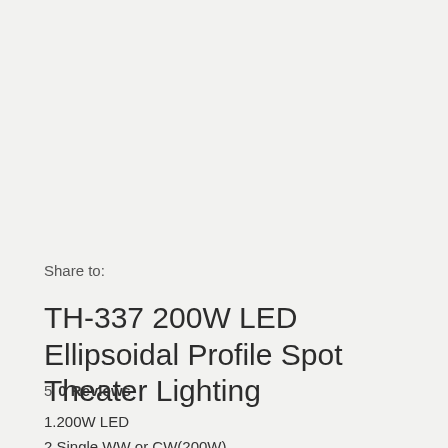Share to:
TH-337 200W LED Ellipsoidal Profile Spot Theater Lighting
5   0 Reviews
1.200W LED
2.Single WW or CW(200W)
3.Aluminum Alloy housing